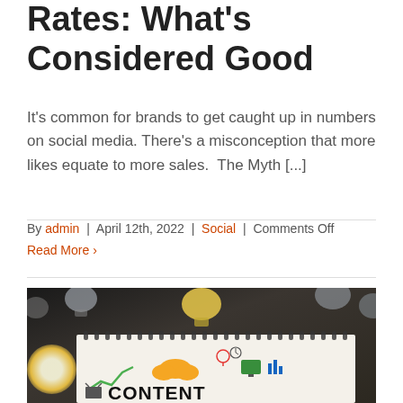Rates: What's Considered Good
It's common for brands to get caught up in numbers on social media. There's a misconception that more likes equate to more sales.  The Myth [...]
By admin | April 12th, 2022 | Social | Comments Off
Read More ›
[Figure (photo): Photo of a notebook with content marketing illustrations (lightbulb, cloud, chart, computer icons) and the word CONTENT, surrounded by lightbulbs on a dark wooden surface.]